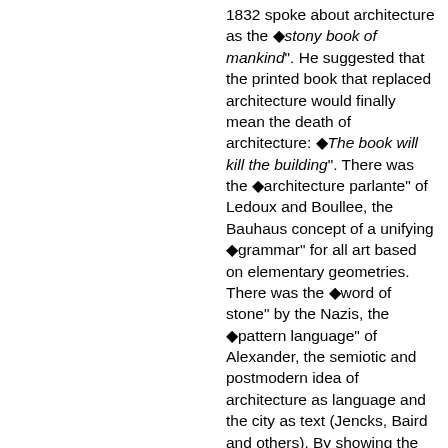1832 spoke about architecture as the «stony book of mankind». He suggested that the printed book that replaced architecture would finally mean the death of architecture: «The book will kill the building». There was the «architecture parlante» of Ledoux and Boullee, the Bauhaus concept of a unifying «grammar» for all art based on elementary geometries. There was the «word of stone» by the Nazis, the «pattern language» of Alexander, the semiotic and postmodern idea of architecture as language and the city as text (Jencks, Baird and others). By showing the interrelation between words and buildings, Adrian Forty spoke of the «empire of language» where language effectively structures thinking, architectural thinking included.[3] Furthermore, we could speak about a «linguistic turn» in the cultural sciences and architectural theory. The text became a predominant concept of